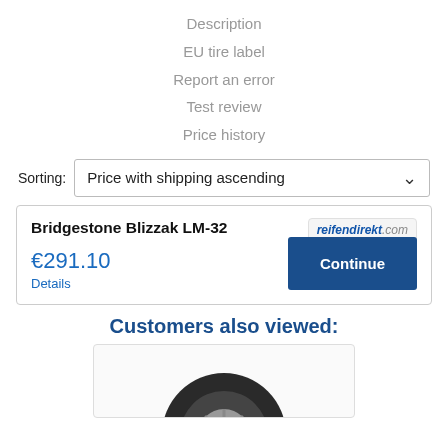Description
EU tire label
Report an error
Test review
Price history
Sorting: Price with shipping ascending
Bridgestone Blizzak LM-32
reifendirekt.com
€291.10
Details
Continue
Customers also viewed:
[Figure (photo): Partial view of a tire at the bottom of the page]